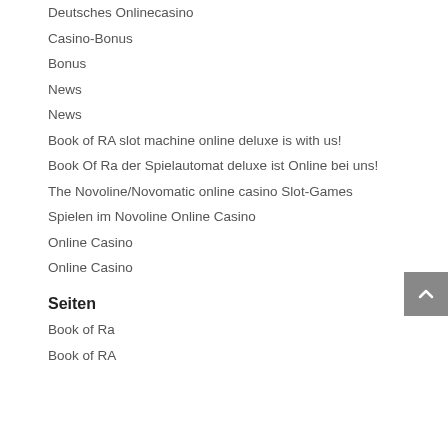Deutsches Onlinecasino
Casino-Bonus
Bonus
News
News
Book of RA slot machine online deluxe is with us!
Book Of Ra der Spielautomat deluxe ist Online bei uns!
The Novoline/Novomatic online casino Slot-Games
Spielen im Novoline Online Casino
Online Casino
Online Casino
Seiten
Book of Ra
Book of RA